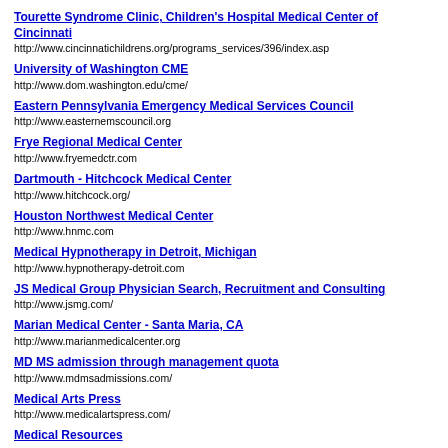Tourette Syndrome Clinic, Children's Hospital Medical Center of Cincinnati
http://www.cincinnatichildrens.org/programs_services/396/index.asp
University of Washington CME
http://www.dom.washington.edu/cme/
Eastern Pennsylvania Emergency Medical Services Council
http://www.easternemscouncil.org
Frye Regional Medical Center
http://www.fryemedctr.com
Dartmouth - Hitchcock Medical Center
http://www.hitchcock.org/
Houston Northwest Medical Center
http://www.hnmc.com
Medical Hypnotherapy in Detroit, Michigan
http://www.hypnotherapy-detroit.com
JS Medical Group Physician Search, Recruitment and Consulting
http://www.jsmg.com/
Marian Medical Center - Santa Maria, CA
http://www.marianmedicalcenter.org
MD MS admission through management quota
http://www.mdmsadmissions.com/
Medical Arts Press
http://www.medicalartspress.com/
Medical Resources